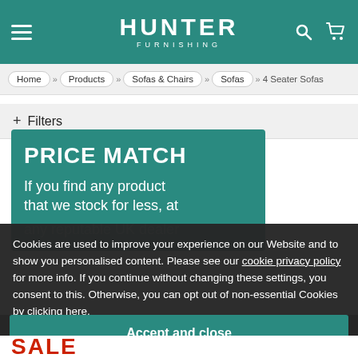HUNTER FURNISHING
Home » Products » Sofas & Chairs » Sofas » 4 Seater Sofas
+ Filters
[Figure (screenshot): Price match promotional card on teal background reading: PRICE MATCH — If you find any product that we stock for less, at any reputable UK dealer]
Cookies are used to improve your experience on our Website and to show you personalised content. Please see our cookie privacy policy for more info. If you continue without changing these settings, you consent to this. Otherwise, you can opt out of non-essential Cookies by clicking here.
Accept and close
SALE